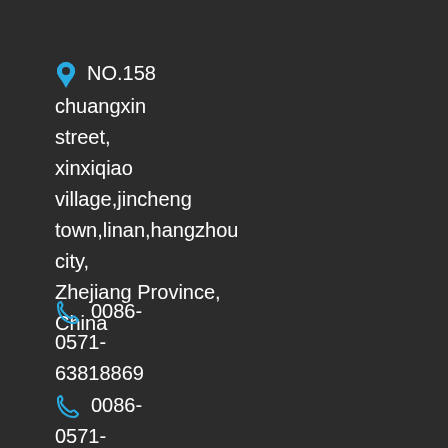NO.158 chuangxin street, xinxiqiao village,jincheng town,linan,hangzhou city, Zhejiang Province, China
0086-0571-63818869
0086-0571-63818867